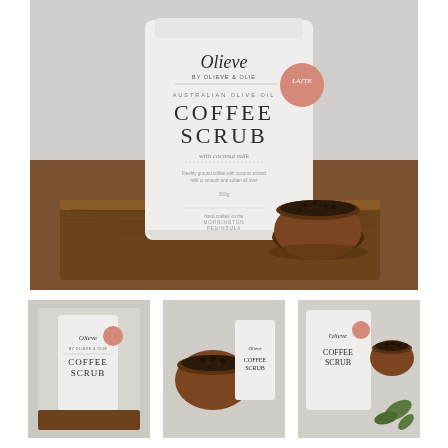[Figure (photo): Main product photo: Olieve by Olieve & Olie Australian Olive Oil Coffee Scrub with Coconut Milk (Latte variant) in a white pouch bag, displayed standing upright on a rustic wooden block. In front of the bag sits a small wooden bowl filled with dark coffee scrub grounds. Background is a soft grey/white textured surface.]
[Figure (photo): Thumbnail 1: Olieve Coffee Scrub white package shown upright against a light background.]
[Figure (photo): Thumbnail 2: Close-up of a wooden bowl filled with dark coffee scrub grounds next to a white Olieve package.]
[Figure (photo): Thumbnail 3: Olieve Coffee Scrub package alongside a wooden bowl of scrub and some green leaves, flat lay style.]